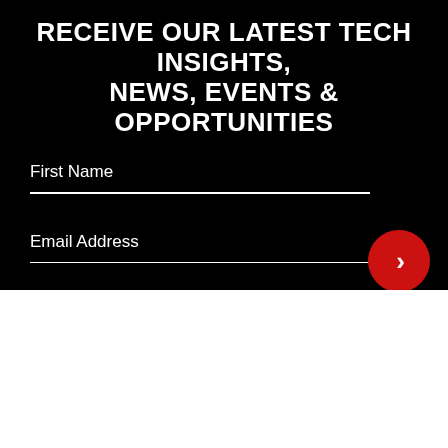RECEIVE OUR LATEST TECH INSIGHTS, NEWS, EVENTS & OPPORTUNITIES
First Name
Email Address
[Figure (logo): Baroan Technologies logo — oval black border with italic 'Baroan' text in bold black and 'TECHNOLOGIES' in smaller text below with a red underline]
Scroll to top button (arrow up, gray)